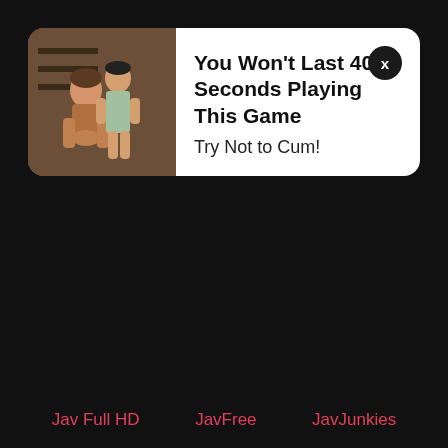[Figure (screenshot): Advertisement banner with thumbnail image of two people and text overlay on dark background]
You Won't Last 40 Seconds Playing This Game
Try Not to Cum!
Jav Full HD   JavFree   JavJunkies